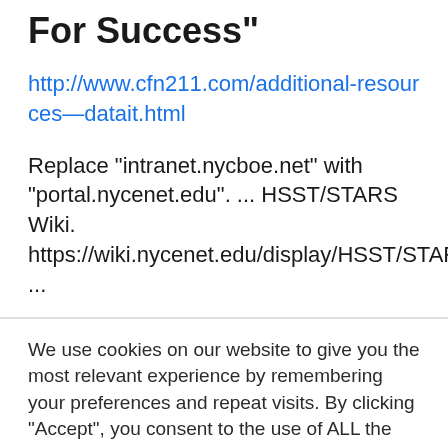For Success"
http://www.cfn211.com/additional-resources—datait.html
Replace “intranet.nycboe.net” with “portal.nycenet.edu”. ... HSST/STARS Wiki. https://wiki.nycenet.edu/display/HSST/STARS+Wiki+Home+Page ...
We use cookies on our website to give you the most relevant experience by remembering your preferences and repeat visits. By clicking “Accept”, you consent to the use of ALL the cookies.
Do not sell my personal information.
Cookie settings   ACCEPT